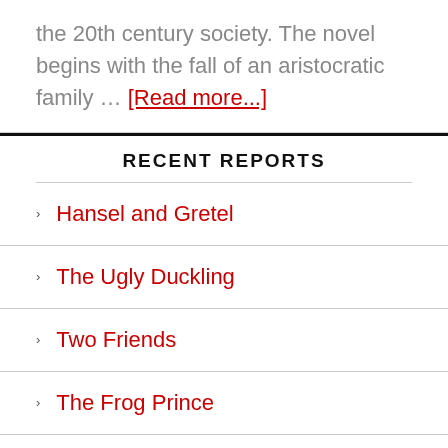the 20th century society. The novel begins with the fall of an aristocratic family … [Read more...]
RECENT REPORTS
Hansel and Gretel
The Ugly Duckling
Two Friends
The Frog Prince